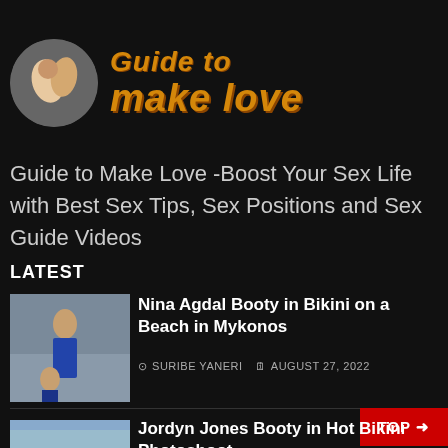[Figure (logo): Circular logo image of couple with 'Guide to make love' text in orange italic bold font on dark background]
Guide to Make Love -Boost Your Sex Life with Best Sex Tips, Sex Positions and Sex Guide Videos
LATEST
[Figure (photo): Thumbnail photo of a person in a bikini on a beach]
Nina Agdal Booty in Bikini on a Beach in Mykonos
SURIBE YANERI  AUGUST 27, 2022
[Figure (photo): Thumbnail photo partially visible at bottom]
Jordyn Jones Booty in Hot Bikini Photoshoot